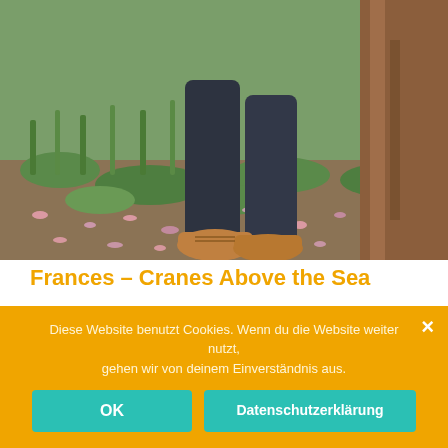[Figure (photo): Legs of a person wearing dark jeans and tan oxford shoes, standing beside a tree trunk on ground covered with pink fallen flower petals and green grass shoots]
Frances – Cranes Above the Sea
November 2018. Private Party.
Diese Website benutzt Cookies. Wenn du die Website weiter nutzt, gehen wir von deinem Einverständnis aus.
OK
Datenschutzerklärung